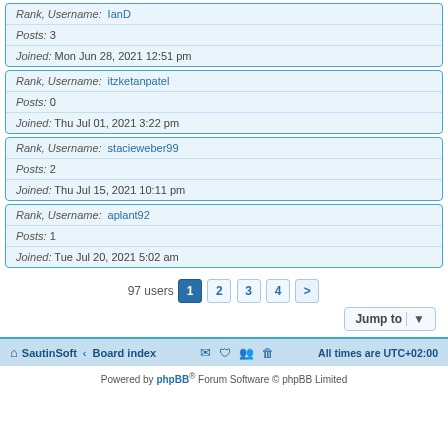Rank, Username: IanD | Posts: 3 | Joined: Mon Jun 28, 2021 12:51 pm
Rank, Username: itzketanpatel | Posts: 0 | Joined: Thu Jul 01, 2021 3:22 pm
Rank, Username: stacieweber99 | Posts: 2 | Joined: Thu Jul 15, 2021 10:11 pm
Rank, Username: aplant92 | Posts: 1 | Joined: Tue Jul 20, 2021 5:02 am
97 users  1 2 3 4 >
Jump to
SautinSoft · Board index   All times are UTC+02:00
Powered by phpBB® Forum Software © phpBB Limited